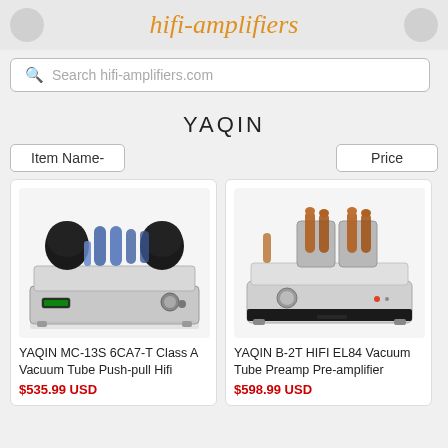hifi-amplifiers
Search hifi-amplifiers.com
YAQIN
Item Name-    Price
[Figure (photo): YAQIN MC-13S 6CA7-T Class A Vacuum Tube Push-pull Hifi amplifier product photo on white background]
YAQIN MC-13S 6CA7-T Class A Vacuum Tube Push-pull Hifi
$535.99 USD
[Figure (photo): YAQIN B-2T HIFI EL84 Vacuum Tube Preamp Pre-amplifier product photo on white background]
YAQIN B-2T HIFI EL84 Vacuum Tube Preamp Pre-amplifier
$598.99 USD